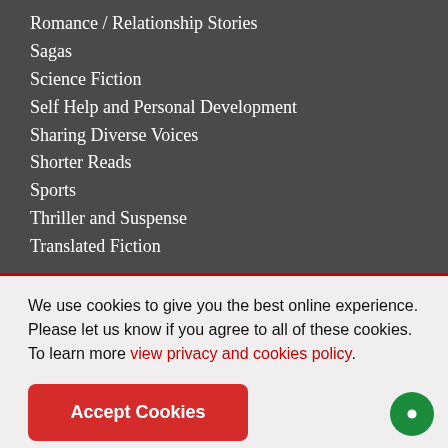Romance / Relationship Stories
Sagas
Science Fiction
Self Help and Personal Development
Sharing Diverse Voices
Shorter Reads
Sports
Thriller and Suspense
Translated Fiction
We use cookies to give you the best online experience. Please let us know if you agree to all of these cookies. To learn more view privacy and cookies policy.